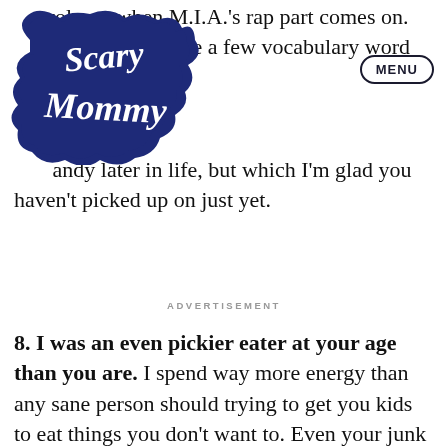[Figure (logo): Scary Mommy logo — dark blue decorative script text in a cloud/scroll shape]
volume when M.I.A.'s rap part comes on. Let's cover a few vocabulary words handy later in life, but which I'm glad you haven't picked up on just yet.
ADVERTISEMENT
8. I was an even pickier eater at your age than you are. I spend way more energy than any sane person should trying to get you kids to eat things you don't want to. Even your junk food diet is limited. C'mon, why can't you go...